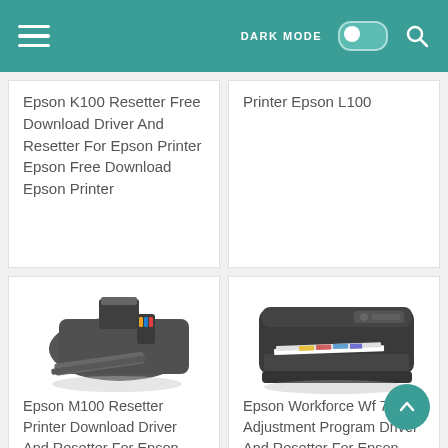DARK MODE [toggle] [search]
Epson K100 Resetter Free Download Driver And Resetter For Epson Printer Epson Free Download Epson Printer
Printer Epson L100
[Figure (photo): Photo of an Epson M100 inkjet printer, dark gray/black, viewed from front-right angle with paper tray extended]
Epson M100 Resetter Printer Download Driver And Resetter For Epson Printer Epson Printer
[Figure (photo): Photo of an Epson Workforce WF-7511 wide-format inkjet printer, black, viewed from front-right angle with paper output tray]
Epson Workforce Wf 7511 Adjustment Program Driver And Resetter For Epson